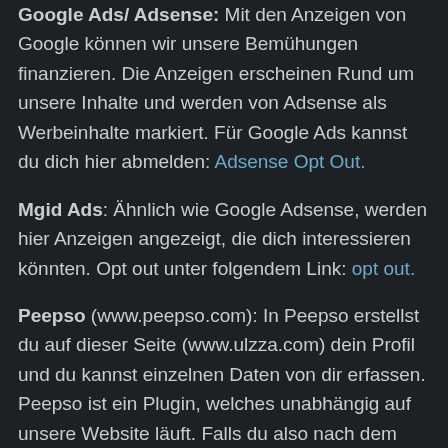Google Ads/ Adsense: Mit den Anzeigen von Google können wir unsere Bemühungen finanzieren. Die Anzeigen erscheinen Rund um unsere Inhalte und werden von Adsense als Werbeinhalte markiert. Für Google Ads kannst du dich hier abmelden: Adsense Opt Out.
Mgid Ads: Ähnlich wie Google Adsense, werden hier Anzeigen angezeigt, die dich interessieren könnten. Opt out unter folgendem Link: opt out.
Peepso (www.peepso.com): In Peepso erstellst du auf dieser Seite (www.ulzza.com) dein Profil und du kannst einzelnen Daten von dir erfassen. Peepso ist ein Plugin, welches unabhängig auf unsere Website läuft. Falls du also nach dem Erfassen eines Kontos, deinen Account und somit alle Daten darin löschen möchtest, dann schreib uns einfach eine Email auf kawaii@ulzza.com und wir werden gleich nach erhalt des Emails dein Account und alle Daten im System komplett